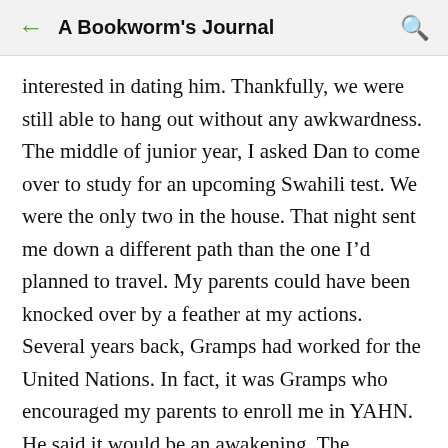A Bookworm's Journal
interested in dating him. Thankfully, we were still able to hang out without any awkwardness. The middle of junior year, I asked Dan to come over to study for an upcoming Swahili test. We were the only two in the house. That night sent me down a different path than the one I’d planned to travel. My parents could have been knocked over by a feather at my actions.
Several years back, Gramps had worked for the United Nations. In fact, it was Gramps who encouraged my parents to enroll me in YAHN. He said it would be an awakening. The application